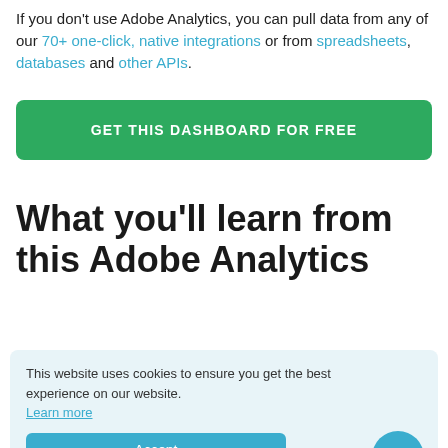If you don't use Adobe Analytics, you can pull data from any of our 70+ one-click, native integrations or from spreadsheets, databases and other APIs.
GET THIS DASHBOARD FOR FREE
What you'll learn from this Adobe Analytics
This website uses cookies to ensure you get the best experience on our website. Learn more
Accept
By connecting your Adobe Analytics account